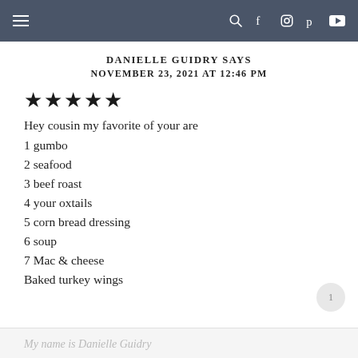≡  [search] [facebook] [instagram] [pinterest] [youtube]
DANIELLE GUIDRY SAYS
NOVEMBER 23, 2021 AT 12:46 PM
[Figure (other): 5 filled black stars rating]
Hey cousin my favorite of your are
1 gumbo
2 seafood
3 beef roast
4 your oxtails
5 corn bread dressing
6 soup
7 Mac & cheese
Baked turkey wings
My name is Danielle Guidry